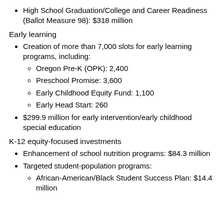High School Graduation/College and Career Readiness (Ballot Measure 98): $318 million
Early learning
Creation of more than 7,000 slots for early learning programs, including:
Oregon Pre-K (OPK): 2,400
Preschool Promise: 3,600
Early Childhood Equity Fund: 1,100
Early Head Start: 260
$299.9 million for early intervention/early childhood special education
K-12 equity-focused investments
Enhancement of school nutrition programs: $84.3 million
Targeted student-population programs:
African-American/Black Student Success Plan: $14.4 million